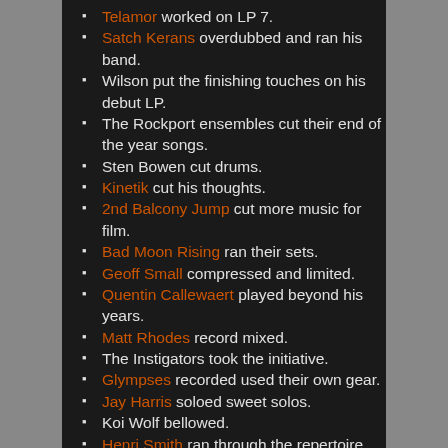Telamor worked on LP 7.
Satch Kerans overdubbed and ran his band.
Wilson put the finishing touches on his debut LP.
The Rockport ensembles cut their end of the year songs.
Sten Bowen cut drums.
Kinetik cut his thoughts.
2nd Balcony Jump cut more music for film.
Bad Moon Rising ran their sets.
Geoff Small compressed and limited.
Quentin Callewaert played beyond his years.
Matt Rhodes record mixed.
The Instigators took the initiative.
Glympses recorded used their own gear.
Jay Harris soloed sweet solos.
Koi Wolf bellowed.
Henri Smith ran through the repertoire.
77 Everythings recorded everything they had.
Harry and the Potters made Wizard Rock believers of us all!
Jones Creek got us high.